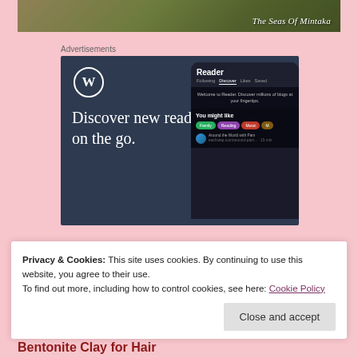[Figure (photo): Header image of outdoor scene with foliage and text overlay 'The Seas Of Mintaka']
Advertisements
[Figure (screenshot): WordPress advertisement: 'Discover new reads on the go.' with WordPress logo and phone mockup showing the Reader feature with Discover tab, tag suggestions (Family, Reading, Music), and blog post preview.]
Privacy & Cookies: This site uses cookies. By continuing to use this website, you agree to their use.
To find out more, including how to control cookies, see here: Cookie Policy
Close and accept
Bentonite Clay for Hair